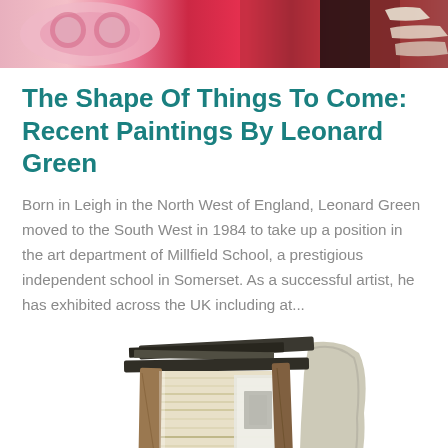[Figure (photo): Top portion of a painting showing pink and red abstract shapes, possibly faces with goggles]
The Shape Of Things To Come: Recent Paintings By Leonard Green
Born in Leigh in the North West of England, Leonard Green moved to the South West in 1984 to take up a position in the art department of Millfield School, a prestigious independent school in Somerset. As a successful artist, he has exhibited across the UK including at...
[Figure (photo): Artwork assemblage made of stacked books, wood pieces, slate, and found objects arranged into a sculptural form]